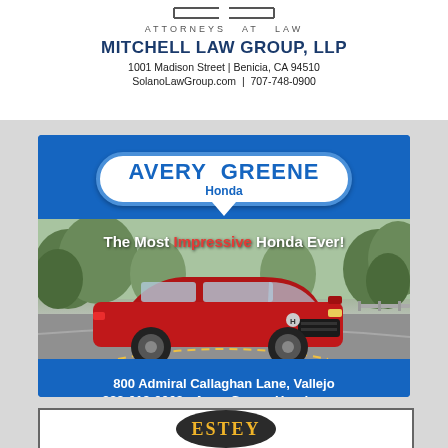[Figure (logo): Mitchell Law Group, LLP logo with brackets and ATTORNEYS AT LAW text]
MITCHELL LAW GROUP, LLP
1001 Madison Street | Benicia, CA 94510
SolanoLawGroup.com | 707-748-0900
[Figure (illustration): Avery Greene Honda advertisement with logo bubble, red Honda car on road, slogan 'The Most Impressive Honda Ever!', address 800 Admiral Callaghan Lane, Vallejo, 888-619-0063, AveryGreeneHonda.com]
[Figure (logo): Estey logo on dark oval, partial view at bottom of page]